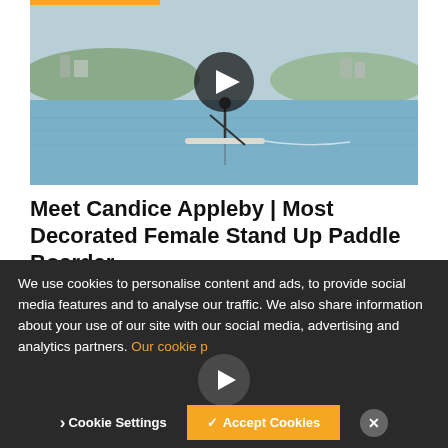[Figure (photo): Video thumbnail showing a paddleboarder on calm water with a coastal town in background, with a play button overlay and orange bar at top]
Meet Candice Appleby | Most Decorated Female Stand Up Paddle Boarder
March 22nd, 2020 | by Matt Dumoulin
The most decorated woman stand up paddle boarder reflects on her success and giving back to the sport she loves [&hellip
We use cookies to personalise content and ads, to provide social media features and to analyse our traffic. We also share information about your use of our site with our social media, advertising and analytics partners. Our cookie p
Cookie Settings
✓ Accept Cookies